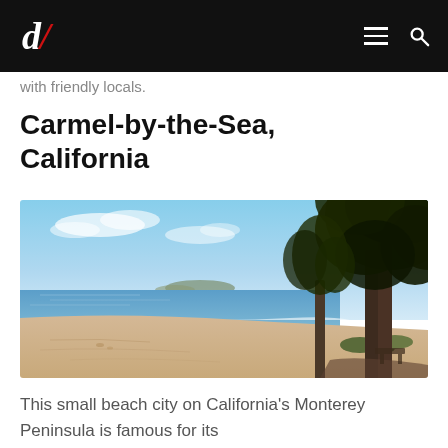d/ [logo] [hamburger menu] [search icon]
with friendly locals.
Carmel-by-the-Sea, California
[Figure (photo): Coastal beach scene at Carmel-by-the-Sea with white sand, blue ocean water, large cypress trees on the right, and a rocky headland visible in the distance under a partly cloudy blue sky.]
This small beach city on California's Monterey Peninsula is famous for its